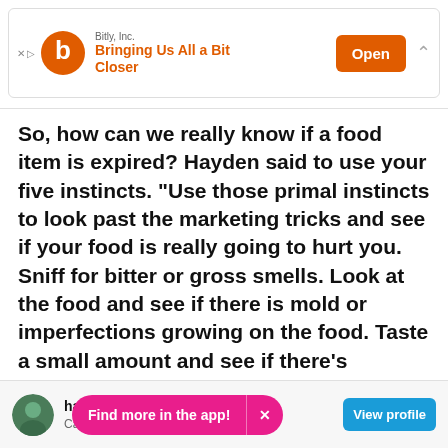[Figure (screenshot): Bitly Inc. advertisement banner with orange logo, tagline 'Bringing Us All a Bit Closer', and orange 'Open' button]
So, how can we really know if a food item is expired? Hayden said to use your five instincts. "Use those primal instincts to look past the marketing tricks and see if your food is really going to hurt you. Sniff for bitter or gross smells. Look at the food and see if there is mold or imperfections growing on the food. Taste a small amount and see if there's anything sour or rotten."
[Figure (screenshot): User profile bottom bar showing profile picture, username 'hay', location 'Cayuga, Ontario', pink 'Find more in the app!' pill, and blue 'View profile' button]